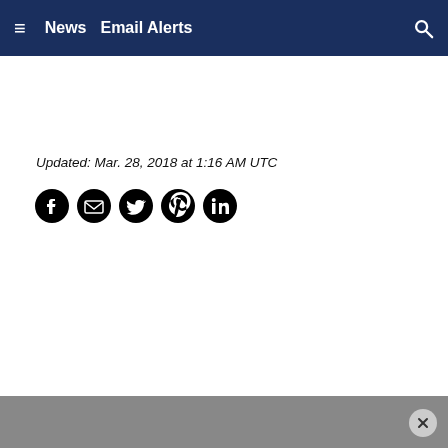≡  News  Email Alerts  🔍
Updated: Mar. 28, 2018 at 1:16 AM UTC
[Figure (other): Row of social share icons: Facebook, Email/Gmail, Twitter, Pinterest, LinkedIn]
[Figure (other): Gray footer bar with a circular close (X) button in the bottom right corner]